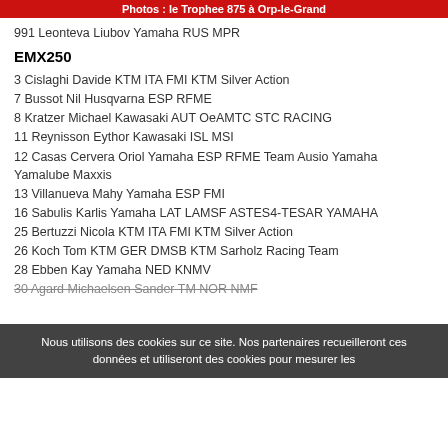Photos : le Trophee 875 à Orp-le-Grand
991 Leonteva Liubov Yamaha RUS MPR
EMX250
3 Cislaghi Davide KTM ITA FMI KTM Silver Action
7 Bussot Nil Husqvarna ESP RFME
8 Kratzer Michael Kawasaki AUT OeAMTC STC RACING
11 Reynisson Eythor Kawasaki ISL MSI
12 Casas Cervera Oriol Yamaha ESP RFME Team Ausio Yamaha Yamalube Maxxis
13 Villanueva Mahy Yamaha ESP FMI
16 Sabulis Karlis Yamaha LAT LAMSF ASTES4-TESAR YAMAHA
25 Bertuzzi Nicola KTM ITA FMI KTM Silver Action
26 Koch Tom KTM GER DMSB KTM Sarholz Racing Team
28 Ebben Kay Yamaha NED KNMV
30 Agard Michaelsen Sander TM NOR NMF
Nous utilisons des cookies sur ce site. Nos partenaires recueilleront ces données et utiliseront des cookies pour mesurer les